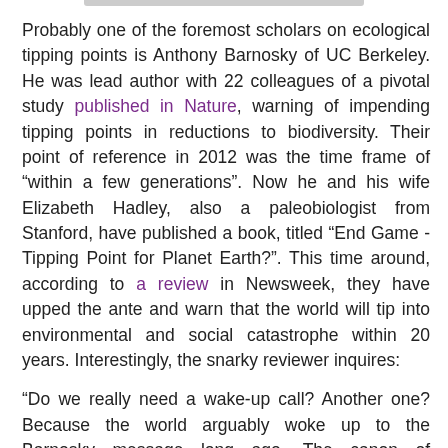Probably one of the foremost scholars on ecological tipping points is Anthony Barnosky of UC Berkeley.  He was lead author with 22 colleagues of a pivotal study published in Nature, warning of impending tipping points in reductions to biodiversity.  Their point of reference in 2012 was the time frame of “within a few generations”.  Now he and his wife Elizabeth Hadley, also a paleobiologist from Stanford, have published a book, titled “End Game - Tipping Point for Planet Earth?”.  This time around, according to a review in Newsweek, they have upped the ante and warn that the world will tip into environmental and social catastrophe within 20 years.  Interestingly, the snarky reviewer inquires:
“Do we really need a wake-up call? Another one? Because the world arguably woke up to the Barnosky message long ago. The canon of eschatological literature is old and long. The trouble is that we’ve stopped listening to the warnings. Indeed it sometimes seems as though the louder the alarm clock, the more inclined we are, these days, to roll over and hit the snooze button.”